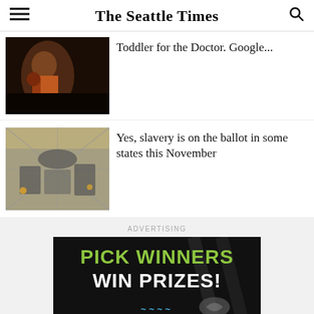The Seattle Times
Toddler for the Doctor. Google...
Yes, slavery is on the ballot in some states this November
ADVERTISING
[Figure (illustration): Advertisement banner: PICK WINNERS WIN PRIZES! with football imagery on dark background]